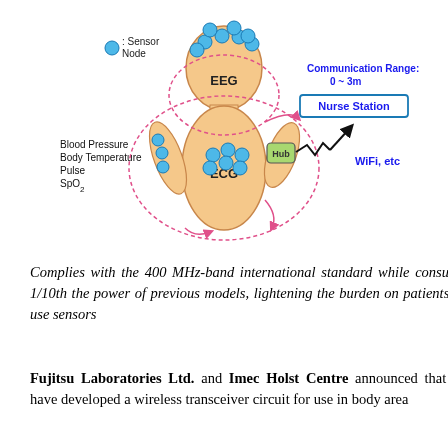[Figure (schematic): Body area network diagram showing a human body silhouette with sensor nodes (blue circles) placed on the head (EEG) and torso (ECG), arm sensors for Blood Pressure, Body Temperature, Pulse, SpO2, a Hub device connecting wirelessly to a Nurse Station via WiFi etc, with communication range 0~3m indicated by dotted pink ellipses.]
Complies with the 400 MHz-band international standard while consuming 1/10th the power of previous models, lightening the burden on patients who use sensors
Fujitsu Laboratories Ltd. and Imec Holst Centre announced that they have developed a wireless transceiver circuit for use in body area